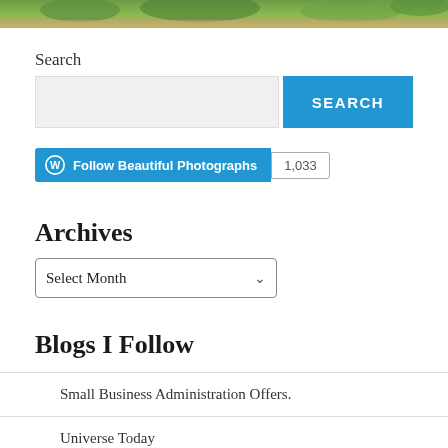[Figure (photo): Top portion of a nature/garden photo showing green foliage and brownish background]
Search
[Figure (screenshot): Search input field and SEARCH button]
[Figure (screenshot): WordPress Follow Beautiful Photographs button with 1,033 follower count badge]
Archives
[Figure (screenshot): Select Month dropdown]
Blogs I Follow
Small Business Administration Offers.
Universe Today